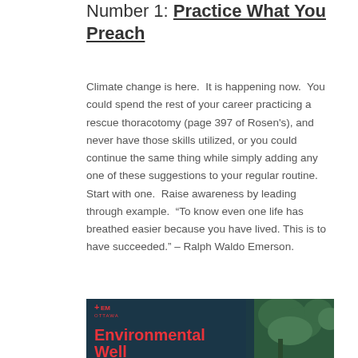Number 1: Practice What You Preach
Climate change is here.  It is happening now.  You could spend the rest of your career practicing a rescue thoracotomy (page 397 of Rosen's), and never have those skills utilized, or you could continue the same thing while simply adding any one of these suggestions to your regular routine.  Start with one.  Raise awareness by leading through example.  “To know even one life has breathed easier because you have lived. This is to have succeeded.” – Ralph Waldo Emerson.
[Figure (photo): Partial image of an 'Environmental Well-being' themed graphic with a teal/dark background, red bold text reading 'Environmental' and beginning of 'Well-', and a logo with a red cross/plus symbol for EM Ottawa in the upper left.]